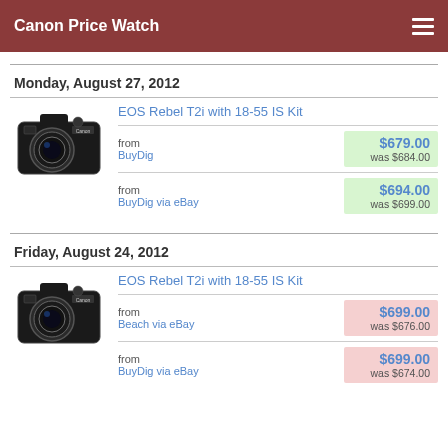Canon Price Watch
Monday, August 27, 2012
EOS Rebel T2i with 18-55 IS Kit
from BuyDig — $679.00, was $684.00
from BuyDig via eBay — $694.00, was $699.00
Friday, August 24, 2012
EOS Rebel T2i with 18-55 IS Kit
from Beach via eBay — $699.00, was $676.00
from BuyDig via eBay — $699.00, was $674.00